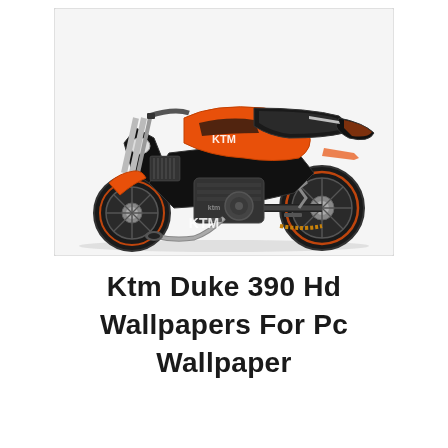[Figure (photo): KTM Duke 390 motorcycle in black and orange color scheme, showing front and mid-section view on white background. The bike features KTM branding, orange accents, visible engine, exhaust, and chain drive.]
Ktm Duke 390 Hd Wallpapers For Pc Wallpaper